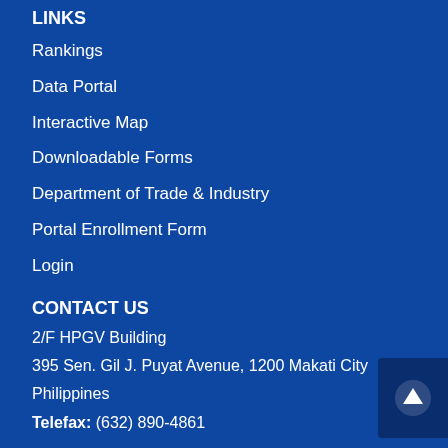LINKS
Rankings
Data Portal
Interactive Map
Downloadable Forms
Department of Trade & Industry
Portal Enrollment Form
Login
CONTACT US
2/F HPGV Building
395 Sen. Gil J. Puyat Avenue, 1200 Makati City
Philippines
Telefax: (632) 890-4861